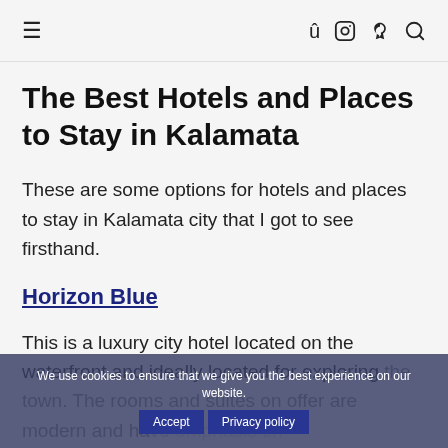≡   f  ○  p  🔍
The Best Hotels and Places to Stay in Kalamata
These are some options for hotels and places to stay in Kalamata city that I got to see firsthand.
Horizon Blue
This is a luxury city hotel located on the waterfront and ideally located for exploring the town. The rooms and suites on offer are modern and have emphasis on
We use cookies to ensure that we give you the best experience on our website. [Accept] [Privacy policy]